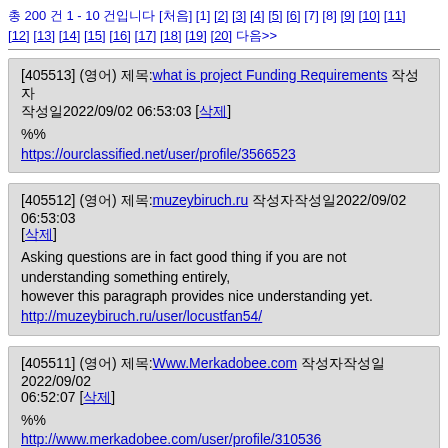총 200 건 1 - 10 건입니다 [처음] [1] [2] [3] [4] [5] [6] [7] [8] [9] [10] [11] [12] [13] [14] [15] [16] [17] [18] [19] [20] 다음>>
[405513] (영어) 제목:what is project Funding Requirements 작성자 작성일2022/09/02 06:53:03 [삭제]
%%
https://ourclassified.net/user/profile/3566523
[405512] (영어) 제목:muzeybiruch.ru 작성자작성일2022/09/02 06:53:03 [삭제]
Asking questions are in fact good thing if you are not understanding something entirely, however this paragraph provides nice understanding yet.
http://muzeybiruch.ru/user/locustfan54/
[405511] (영어) 제목:Www.Merkadobee.com 작성자작성일2022/09/02 06:52:07 [삭제]
%%
http://www.merkadobee.com/user/profile/310536